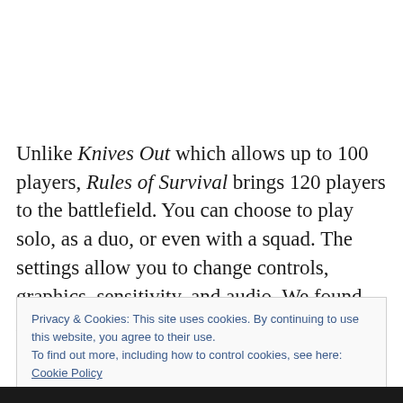Unlike Knives Out which allows up to 100 players, Rules of Survival brings 120 players to the battlefield. You can choose to play solo, as a duo, or even with a squad. The settings allow you to change controls, graphics, sensitivity, and audio. We found Rules of Survival to be smoother
Privacy & Cookies: This site uses cookies. By continuing to use this website, you agree to their use.
To find out more, including how to control cookies, see here: Cookie Policy
Close and accept